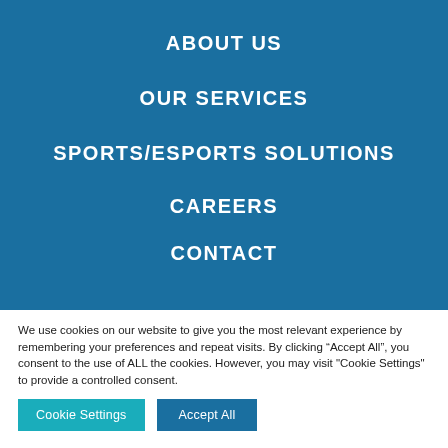ABOUT US
OUR SERVICES
SPORTS/ESPORTS SOLUTIONS
CAREERS
CONTACT
We use cookies on our website to give you the most relevant experience by remembering your preferences and repeat visits. By clicking “Accept All”, you consent to the use of ALL the cookies. However, you may visit "Cookie Settings" to provide a controlled consent.
Cookie Settings
Accept All